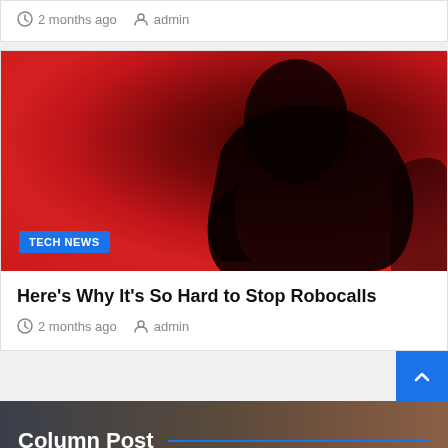2 months ago  admin
[Figure (photo): Dark silhouette of a person against a deep red background, with a TECH NEWS badge overlay in blue]
Here's Why It's So Hard to Stop Robocalls
2 months ago  admin
Column Post